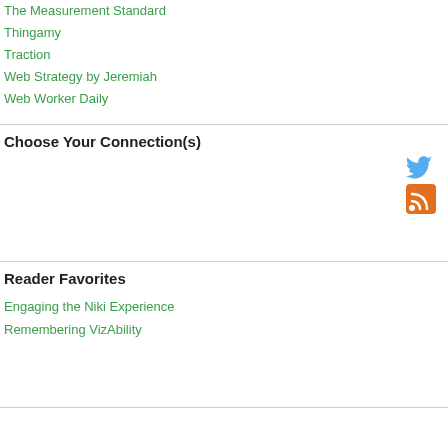The Measurement Standard
Thingamy
Traction
Web Strategy by Jeremiah
Web Worker Daily
Choose Your Connection(s)
[Figure (illustration): Twitter bird icon (blue) and RSS feed icon (orange square with white wifi symbol)]
Reader Favorites
Engaging the Niki Experience
Remembering VizAbility